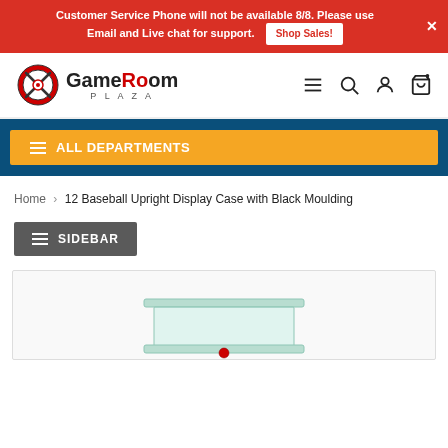Customer Service Phone will not be available 8/8. Please use Email and Live chat for support. Shop Sales!
[Figure (logo): GameRoom Plaza logo with baseball-themed circular emblem and text]
Home > 12 Baseball Upright Display Case with Black Moulding
SIDEBAR
[Figure (photo): Product image of 12 Baseball Upright Display Case with Black Moulding, partially visible glass display case]